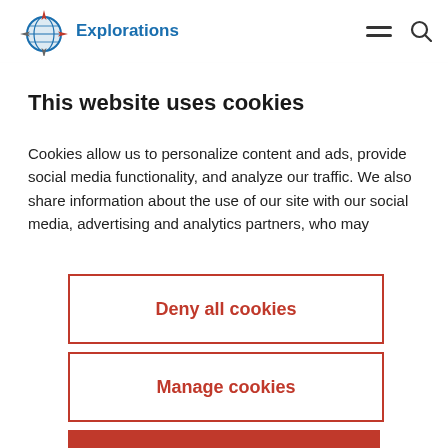Explorations
This website uses cookies
Cookies allow us to personalize content and ads, provide social media functionality, and analyze our traffic. We also share information about the use of our site with our social media, advertising and analytics partners, who may
Deny all cookies
Manage cookies
Ok accept all